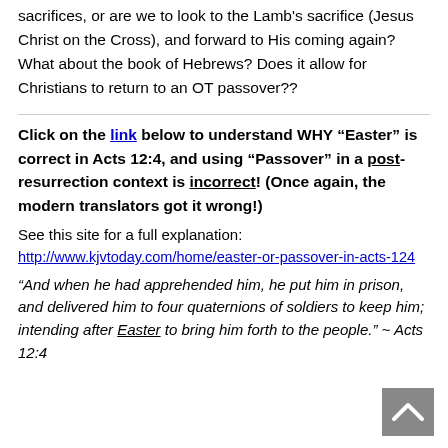sacrifices, or are we to look to the Lamb's sacrifice (Jesus Christ on the Cross), and forward to His coming again?  What about the book of Hebrews? Does it allow for Christians to return to an OT passover??
Click on the link below to understand WHY “Easter” is correct in Acts 12:4, and using “Passover” in a post-resurrection context is incorrect!  (Once again, the modern translators got it wrong!)
See this site for a full explanation:
http://www.kjvtoday.com/home/easter-or-passover-in-acts-124
“And when he had apprehended him, he put him in prison, and delivered him to four quaternions of soldiers to keep him; intending after Easter to bring him forth to the people.” ~ Acts 12:4